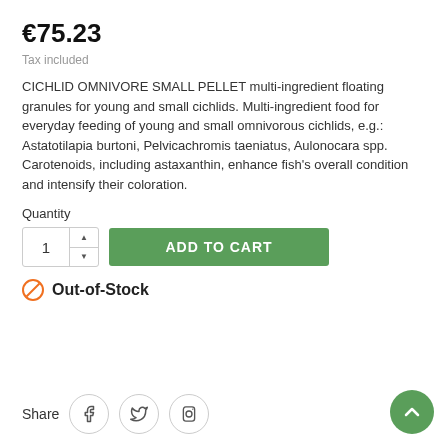€75.23
Tax included
CICHLID OMNIVORE SMALL PELLET multi-ingredient floating granules for young and small cichlids. Multi-ingredient food for everyday feeding of young and small omnivorous cichlids, e.g.: Astatotilapia burtoni, Pelvicachromis taeniatus, Aulonocara spp. Carotenoids, including astaxanthin, enhance fish's overall condition and intensify their coloration.
Quantity
Out-of-Stock
Share